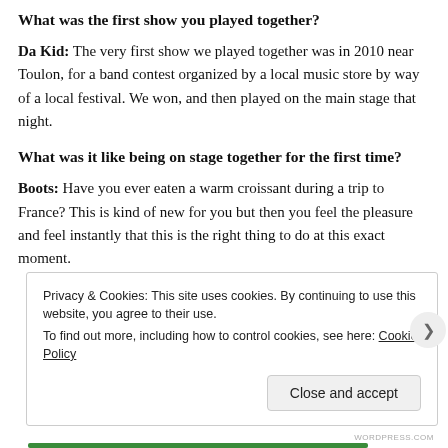What was the first show you played together?
Da Kid: The very first show we played together was in 2010 near Toulon, for a band contest organized by a local music store by way of a local festival. We won, and then played on the main stage that night.
What was it like being on stage together for the first time?
Boots: Have you ever eaten a warm croissant during a trip to France? This is kind of new for you but then you feel the pleasure and feel instantly that this is the right thing to do at this exact moment.
Privacy & Cookies: This site uses cookies. By continuing to use this website, you agree to their use.
To find out more, including how to control cookies, see here: Cookie Policy
Close and accept